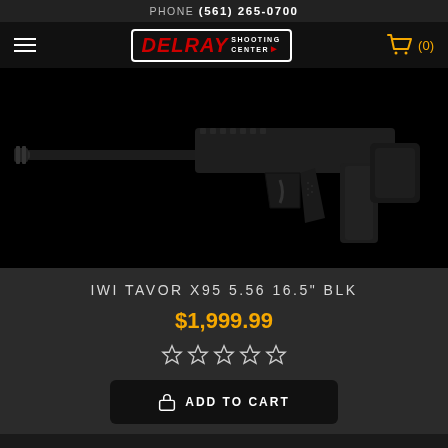PHONE (561) 265-0700
[Figure (logo): Delray Shooting Center logo with hamburger menu and cart icon showing (0) items]
[Figure (photo): Close-up product photo of IWI Tavor X95 5.56 16.5" BLK rifle on black background, showing barrel, handguard, pistol grip, trigger guard and magazine]
IWI TAVOR X95 5.56 16.5" BLK
$1,999.99
★★★★★ (empty stars rating)
ADD TO CART